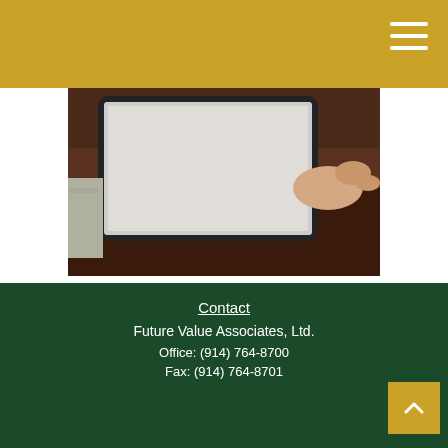[Figure (photo): Person using a tablet device on a wooden desk, viewed from above]
What Is My Current Net Worth?
Use this calculator to estimate your net worth by adding up your assets and subtracting your liabilities.
Contact
Future Value Associates, Ltd.
Office: (914) 764-8700
Fax: (914) 764-8701